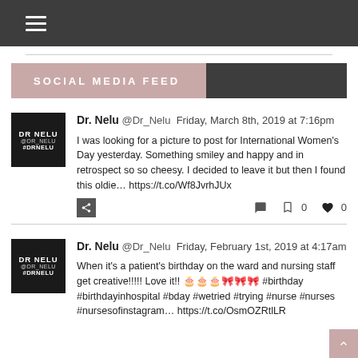≡ (hamburger menu)
SOCIAL MEDIA FEED
Dr. Nelu @Dr_Nelu Friday, March 8th, 2019 at 7:16pm
I was looking for a picture to post for International Women's Day yesterday. Something smiley and happy and in retrospect so so cheesy. I decided to leave it but then I found this oldie… https://t.co/Wf8JvrhJUx
Dr. Nelu @Dr_Nelu Friday, February 1st, 2019 at 4:17am
When it's a patient's birthday on the ward and nursing staff get creative!!!!! Love it!! 🎂🎂🎂🎀🎀🎀 #birthday #birthdayinhospital #bday #wetried #trying #nurse #nurses #nursesofinstagram… https://t.co/OsmOZRtlLR